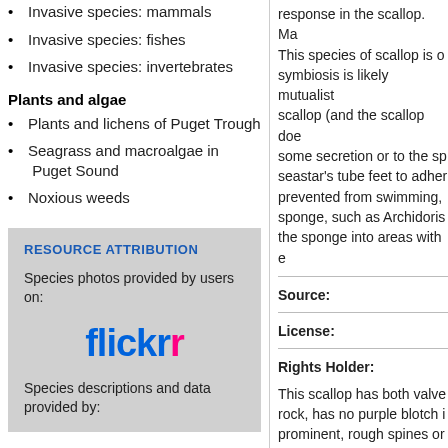Invasive species: mammals
Invasive species: fishes
Invasive species: invertebrates
Plants and algae
Plants and lichens of Puget Trough
Seagrass and macroalgae in Puget Sound
Noxious weeds
RESOURCE ATTRIBUTION
Species photos provided by users on:
flickr
Species descriptions and data provided by:
response in the scallop. Ma This species of scallop is o symbiosis is likely mutualist scallop (and the scallop doe some secretion or to the sp seastar's tube feet to adher prevented from swimming, sponge, such as Archidoris the sponge into areas with e
Source:
License:
Rights Holder:
This scallop has both valve rock, has no purple blotch i prominent, rough spines or Anterior hinge wing (auricle to the photos below; other n the left valve is usually upri usually paler (photo).